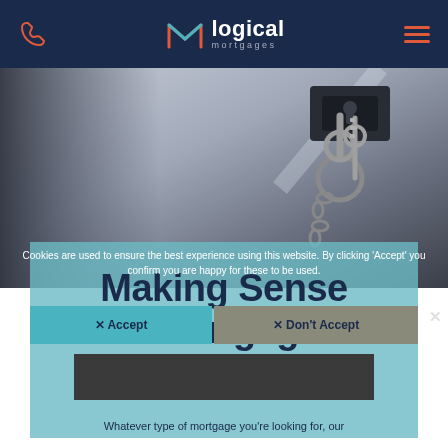[Figure (logo): Logical Mortgages logo with M icon and navigation bar on dark navy background, with phone icon left and hamburger menu right]
[Figure (photo): Blurred photo of a key in a door lock, grey and blue tones]
Cookies are used to ensure the best experience using this website. By clicking 'Accept' you confirm you are happy for these to be used.
Making Sense of Mortgages
✕ Accept
✕ Don't Accept
Privacy policy
Whatever type of mortgage you're looking for, our